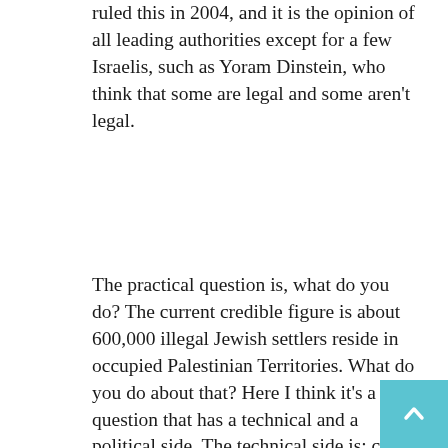ruled this in 2004, and it is the opinion of all leading authorities except for a few Israelis, such as Yoram Dinstein, who think that some are legal and some aren't legal.
The practical question is, what do you do? The current credible figure is about 600,000 illegal Jewish settlers reside in occupied Palestinian Territories. What do you do about that? Here I think it's a question that has a technical and a political side. The technical side is: can you carve out a Palestinian state which is contiguous, viable, and which takes into account not only quantity but quality in possible land swaps? How do you create a state that is not just viable but a state that incorporates what is critical in the areas of the Palestinian Territories? A book coming out soon, edited by Jamie Stern-Weiner, debates this critical question, and he includes two